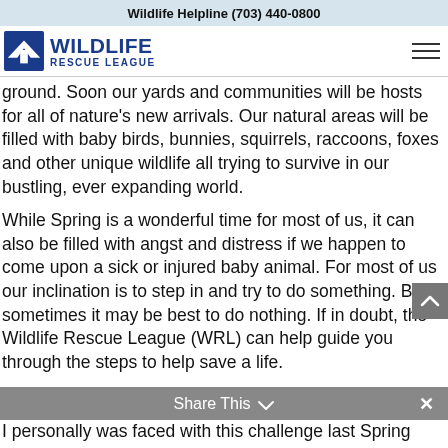Wildlife Helpline (703) 440-0800
[Figure (logo): Wildlife Rescue League logo with blue bird/cross icon and text]
ground. Soon our yards and communities will be hosts for all of nature’s new arrivals. Our natural areas will be filled with baby birds, bunnies, squirrels, raccoons, foxes and other unique wildlife all trying to survive in our bustling, ever expanding world.
While Spring is a wonderful time for most of us, it can also be filled with angst and distress if we happen to come upon a sick or injured baby animal. For most of us our inclination is to step in and try to do something. But sometimes it may be best to do nothing. If in doubt, the Wildlife Rescue League (WRL) can help guide you through the steps to help save a life.
I personally was faced with this challenge last Spring when